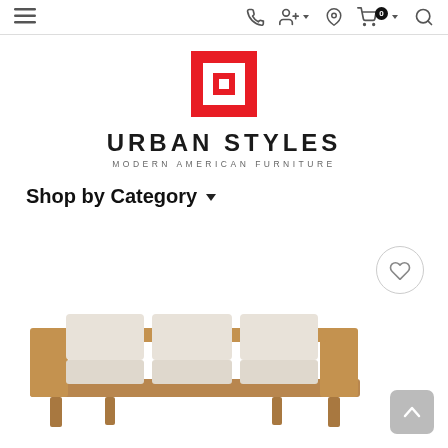Navigation bar with menu, phone, account, location, cart (0), and search icons
[Figure (logo): Urban Styles logo: red square outline icon above bold text URBAN STYLES and tagline MODERN AMERICAN FURNITURE]
URBAN STYLES
MODERN AMERICAN FURNITURE
Shop by Category ▾
[Figure (photo): Outdoor/indoor three-seat wooden sofa with beige linen cushions, natural teak wood frame, partially cropped at bottom of page]
[Figure (other): Circular wishlist/favorite heart icon button on right side]
[Figure (other): Back to top arrow button, gray rounded square, bottom right corner]